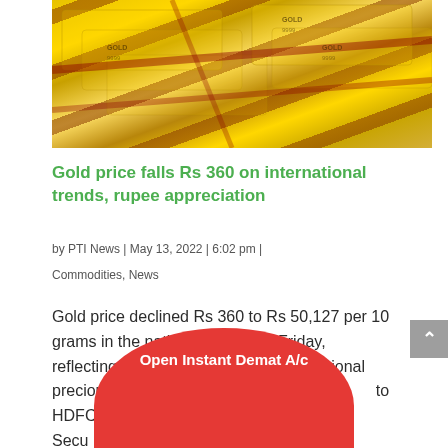[Figure (photo): Stack of gold bars/ingots with '9999' purity stamps, photographed closely showing their golden metallic surfaces with red accents]
Gold price falls Rs 360 on international trends, rupee appreciation
by PTI News | May 13, 2022 | 6:02 pm |
Commodities, News
Gold price declined Rs 360 to Rs 50,127 per 10 grams in the national capital on Friday, reflecting an overnight slump in international precious metal prices and rupee app... to HDFC Secu...
[Figure (infographic): Red semicircular banner at the bottom with text 'Open Instant Demat A/c']